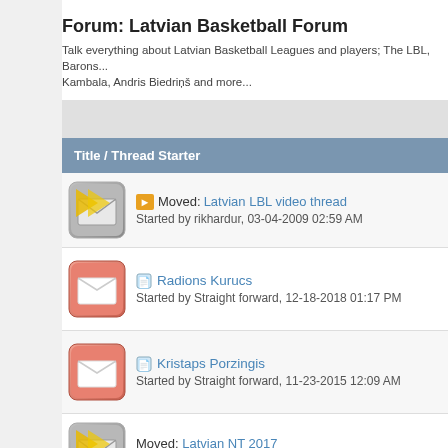Forum: Latvian Basketball Forum
Talk everything about Latvian Basketball Leagues and players; The LBL, Barons... Kambala, Andris Biedriņš and more...
| Title / Thread Starter | R |
| --- | --- |
| [Moved] Moved: Latvian LBL video thread
Started by rikhardur, 03-04-2009 02:59 AM |  |
| [doc] Radions Kurucs
Started by Straight forward, 12-18-2018 01:17 PM | R |
| [doc] Kristaps Porzingis
Started by Straight forward, 11-23-2015 12:09 AM | R |
| [Moved] Moved: Latvian NT 2017
Started by archaz, 07-14-2017 10:05 AM |  |
| [doc] Davis Bertans
Started by CKR13, 05-20-2011 09:03 AM | R |